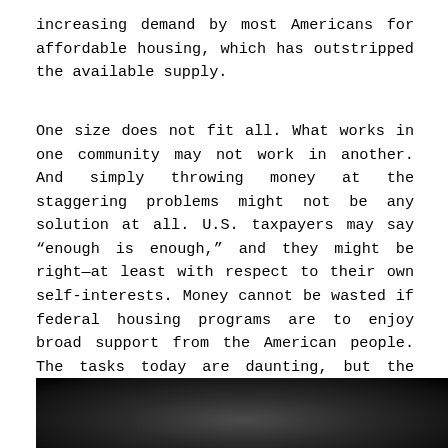increasing demand by most Americans for affordable housing, which has outstripped the available supply.
One size does not fit all. What works in one community may not work in another. And simply throwing money at the staggering problems might not be any solution at all. U.S. taxpayers may say “enough is enough,” and they might be right—at least with respect to their own self-interests. Money cannot be wasted if federal housing programs are to enjoy broad support from the American people. The tasks today are daunting, but the United States and Americans have risen to the challenges of the past, and may be expected to do so in the future.
[Figure (photo): Black and white photograph, partially visible at bottom of page, showing a dark scene.]